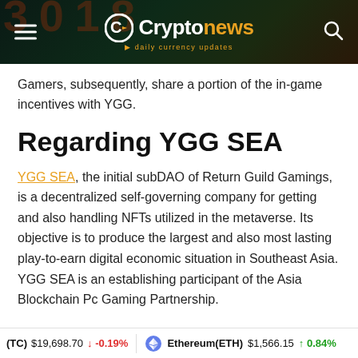Cryptonews · daily currency updates
Gamers, subsequently, share a portion of the in-game incentives with YGG.
Regarding YGG SEA
YGG SEA, the initial subDAO of Return Guild Gamings, is a decentralized self-governing company for getting and also handling NFTs utilized in the metaverse. Its objective is to produce the largest and also most lasting play-to-earn digital economic situation in Southeast Asia. YGG SEA is an establishing participant of the Asia Blockchain Pc Gaming Partnership.
Bitcoin(BTC) $19,698.70 ↓ -0.19%   Ethereum(ETH) $1,566.15 ↑ 0.84%